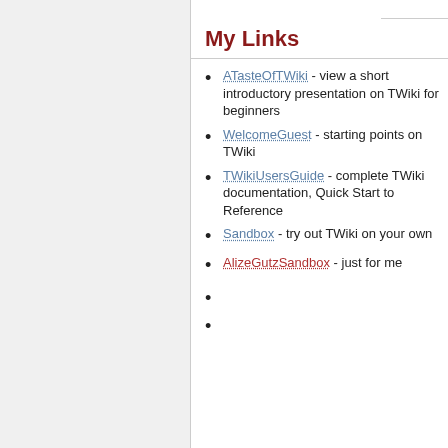My Links
ATasteOfTWiki - view a short introductory presentation on TWiki for beginners
WelcomeGuest - starting points on TWiki
TWikiUsersGuide - complete TWiki documentation, Quick Start to Reference
Sandbox - try out TWiki on your own
AlizeGutzSandbox - just for me